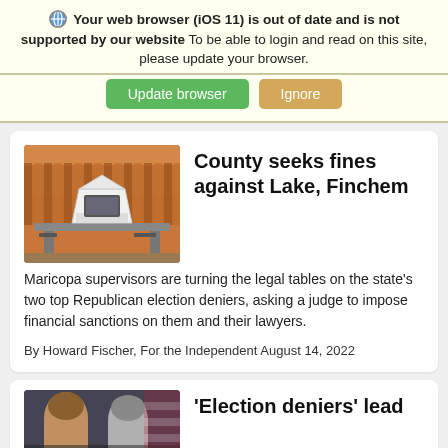Your web browser (iOS 11) is out of date and is not supported by our website To be able to login and read on this site, please update your browser.
[Figure (screenshot): Two buttons: green 'Update browser' and tan/orange 'Ignore']
[Figure (photo): Photo of a white tent-like structure (ballot tabulation equipment) on a table outdoors with a wooden fence background]
County seeks fines against Lake, Finchem
Maricopa supervisors are turning the legal tables on the state's two top Republican election deniers, asking a judge to impose financial sanctions on them and their lawyers.
By Howard Fischer, For the Independent August 14, 2022
[Figure (photo): Partial photo showing two people's faces - appears to be political figures]
'Election deniers' lead